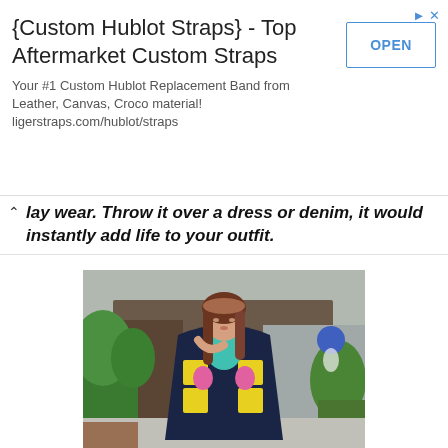[Figure (infographic): Advertisement banner for {Custom Hublot Straps} - Top Aftermarket Custom Straps with an OPEN button]
lay wear. Throw it over a dress or denim, it would instantly add life to your outfit.
[Figure (photo): A young woman wearing a colorful patterned navy blue shawl/wrap over a white outfit, standing outdoors with tropical plants and traditional buildings in the background.]